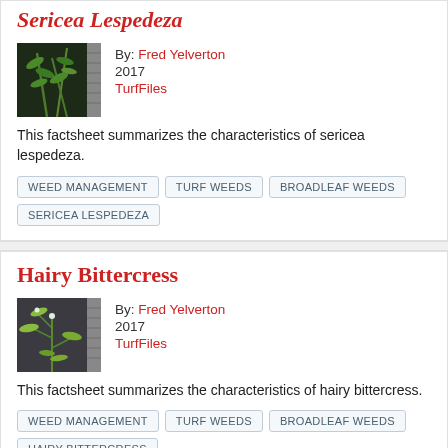Sericea Lespedeza
By: Fred Yelverton
2017
TurfFiles
This factsheet summarizes the characteristics of sericea lespedeza.
WEED MANAGEMENT
TURF WEEDS
BROADLEAF WEEDS
SERICEA LESPEDEZA
Hairy Bittercress
By: Fred Yelverton
2017
TurfFiles
This factsheet summarizes the characteristics of hairy bittercress.
WEED MANAGEMENT
TURF WEEDS
BROADLEAF WEEDS
HAIRY BITTERCRESS